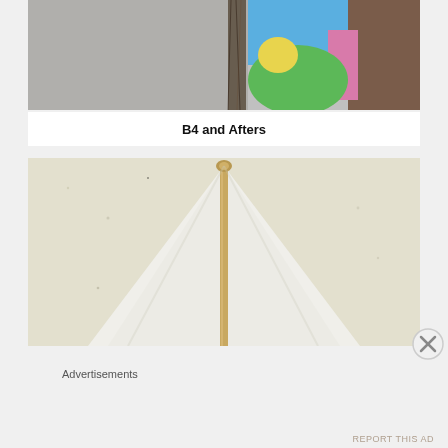[Figure (photo): Top photo showing a colorful decorative item (blue, green, pink, yellow) against a grey wall background, partially cropped at top of page.]
B4 and Afters
[Figure (photo): Photo of a white tent or canopy structure with a vertical wooden pole in front of a textured cream/beige stucco wall.]
Advertisements
REPORT THIS AD